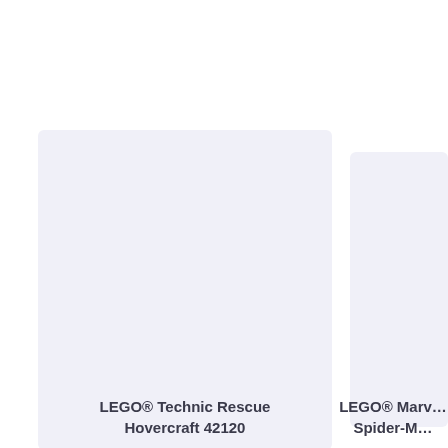[Figure (photo): Light lavender/grey product image placeholder card for LEGO Technic Rescue Hovercraft 42120, left side]
[Figure (photo): Light lavender/grey product image placeholder card for LEGO Marvel Spider-Man set, partially visible on right edge]
LEGO® Technic Rescue Hovercraft 42120
LEGO® Marvel Spider-M…